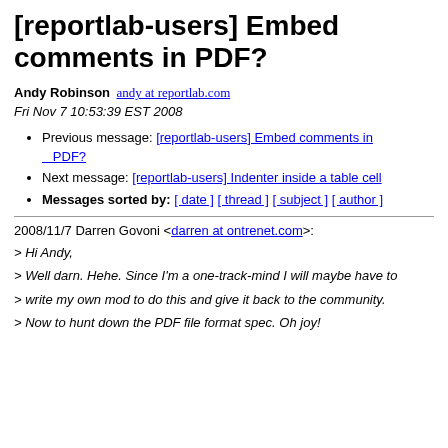[reportlab-users] Embed comments in PDF?
Andy Robinson andy at reportlab.com
Fri Nov 7 10:53:39 EST 2008
Previous message: [reportlab-users] Embed comments in PDF?
Next message: [reportlab-users] Indenter inside a table cell
Messages sorted by: [ date ] [ thread ] [ subject ] [ author ]
2008/11/7 Darren Govoni <darren at ontrenet.com>:
> Hi Andy,
> Well darn. Hehe. Since I'm a one-track-mind I will maybe have to
> write my own mod to do this and give it back to the community.
> Now to hunt down the PDF file format spec. Oh joy!